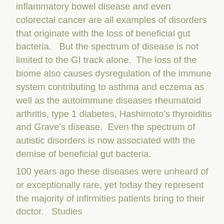inflammatory bowel disease and even colorectal cancer are all examples of disorders that originate with the loss of beneficial gut bacteria.   But the spectrum of disease is not limited to the GI track alone.  The loss of the biome also causes dysregulation of the immune system contributing to asthma and eczema as well as the autoimmune diseases rheumatoid arthritis, type 1 diabetes, Hashimoto's thyroiditis and Grave's disease.  Even the spectrum of autistic disorders is now associated with the demise of beneficial gut bacteria.
100 years ago these diseases were unheard of or exceptionally rare, yet today they represent the majority of infirmities patients bring to their doctor.   Studies